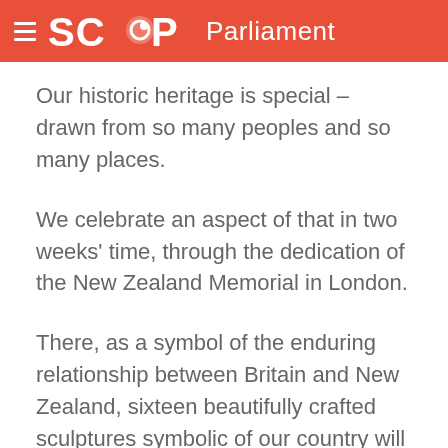SCOOP Parliament
Our historic heritage is special – drawn from so many peoples and so many places.
We celebrate an aspect of that in two weeks' time, through the dedication of the New Zealand Memorial in London.
There, as a symbol of the enduring relationship between Britain and New Zealand, sixteen beautifully crafted sculptures symbolic of our country will stand. It will be a proud day for New Zealand.
Here at home, history has bequeathed us its own